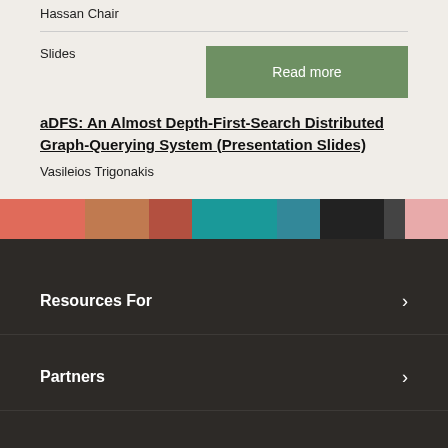Hassan Chair
Slides
Read more
aDFS: An Almost Depth-First-Search Distributed Graph-Querying System (Presentation Slides)
Vasileios Trigonakis
[Figure (illustration): Decorative color strip with multiple colored segments including coral, teal, dark, and pink tones]
Resources For
Partners